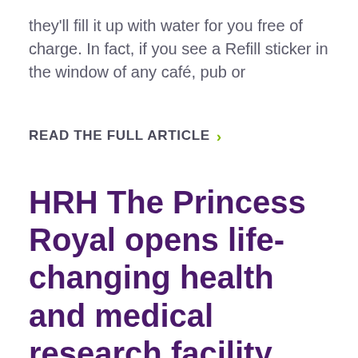they'll fill it up with water for you free of charge. In fact, if you see a Refill sticker in the window of any café, pub or
READ THE FULL ARTICLE >
HRH The Princess Royal opens life-changing health and medical research facility